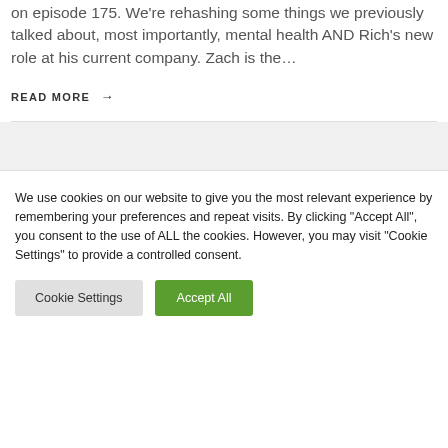…return to the podcast. Zach was previously on episode 175. We're rehashing some things we previously talked about, most importantly, mental health AND Rich's new role at his current company. Zach is the…
READ MORE →
We use cookies on our website to give you the most relevant experience by remembering your preferences and repeat visits. By clicking "Accept All", you consent to the use of ALL the cookies. However, you may visit "Cookie Settings" to provide a controlled consent.